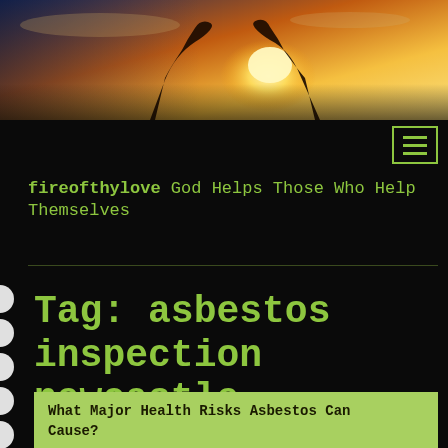[Figure (photo): Sunset banner photo showing silhouetted hands raised against an orange and yellow sunset sky with bright sun in background]
fireofthylove God Helps Those Who Help Themselves
Tag: asbestos inspection newcastle
What Major Health Risks Asbestos Can Cause?